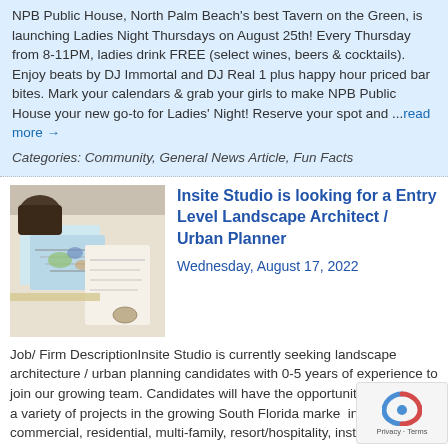NPB Public House, North Palm Beach's best Tavern on the Green, is launching Ladies Night Thursdays on August 25th! Every Thursday from 8-11PM, ladies drink FREE (select wines, beers & cocktails). Enjoy beats by DJ Immortal and DJ Real 1 plus happy hour priced bar bites. Mark your calendars & grab your girls to make NPB Public House your new go-to for Ladies' Night! Reserve your spot and ...read more →
Categories: Community, General News Article, Fun Facts
[Figure (photo): People working on landscape/architectural drawings at a table]
Insite Studio is looking for a Entry Level Landscape Architect / Urban Planner
Wednesday, August 17, 2022
Job/ Firm DescriptionInsite Studio is currently seeking landscape architecture / urban planning candidates with 0-5 years of experience to join our growing team. Candidates will have the opportunity to work on a variety of projects in the growing South Florida market including commercial, residential, multi-family, resort/hospitality, institutional, mixed use, and infill